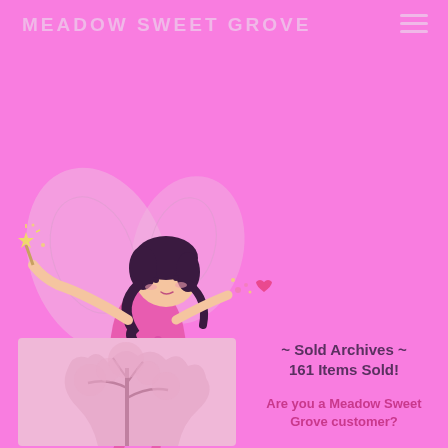MEADOW SWEET GROVE
[Figure (illustration): A fairy illustration with pink spotted dress, dark hair, butterfly wings, holding a magic wand with a star tip, blowing sparkles and hearts from her hand. Set against a pink background.]
[Figure (illustration): A small thumbnail image depicting a tree or forest scene in muted pink tones.]
~ Sold Archives ~ 161 Items Sold!
Are you a Meadow Sweet Grove customer?